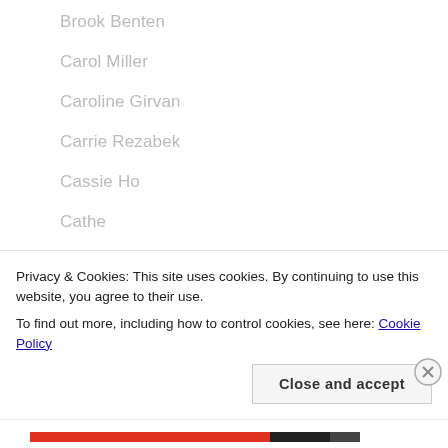Brook Benten
Carol Miller
Caroline Girvan
Carrie Rezabek
Cassie Ho
Cathe
Chalene Johnson
Chelsea Rush
Chris Freytag
Christa Riley
Privacy & Cookies: This site uses cookies. By continuing to use this website, you agree to their use. To find out more, including how to control cookies, see here: Cookie Policy
Close and accept